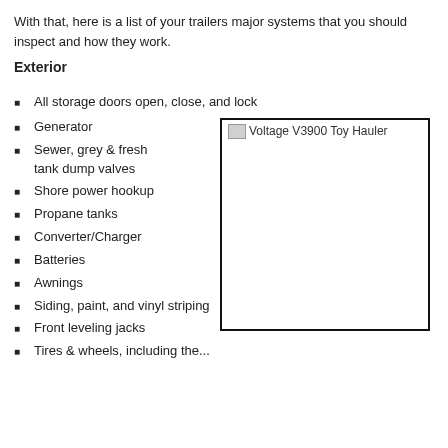With that, here is a list of your trailers major systems that you should inspect and how they work.
Exterior
All storage doors open, close, and lock
Generator
Sewer, grey & fresh tank dump valves
Shore power hookup
Propane tanks
Converter/Charger
Batteries
Awnings
Siding, paint, and vinyl striping
Front leveling jacks
[Figure (photo): Voltage V3900 Toy Hauler - image placeholder with broken image icon and caption text]
Tires & wheels, including the...